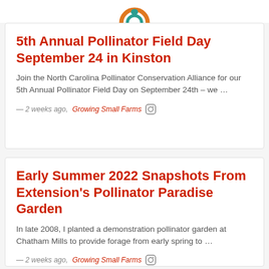[Figure (logo): Partial logo visible at top (orange/teal circular emblem, cropped)]
5th Annual Pollinator Field Day September 24 in Kinston
Join the North Carolina Pollinator Conservation Alliance for our 5th Annual Pollinator Field Day on September 24th – we …
— 2 weeks ago,  Growing Small Farms  [icon]
Early Summer 2022 Snapshots From Extension's Pollinator Paradise Garden
In late 2008, I planted a demonstration pollinator garden at Chatham Mills to provide forage from early spring to …
— 2 weeks ago,  Growing Small Farms  [icon]